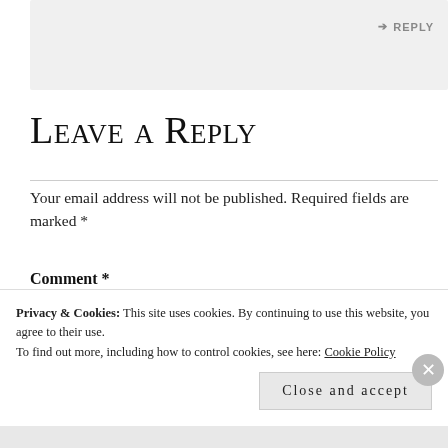↪ REPLY
Leave a Reply
Your email address will not be published. Required fields are marked *
Comment *
Privacy & Cookies: This site uses cookies. By continuing to use this website, you agree to their use.
To find out more, including how to control cookies, see here: Cookie Policy
Close and accept